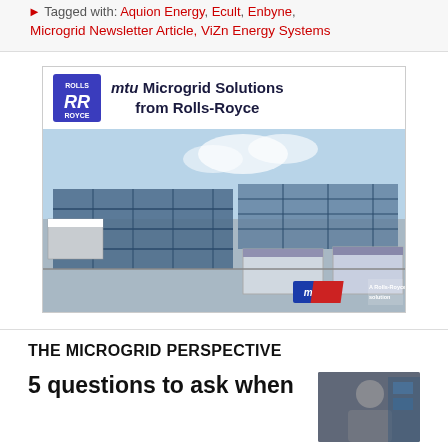Tagged with: Aquion Energy, Ecult, Enbyne, Microgrid Newsletter Article, ViZn Energy Systems
[Figure (photo): Advertisement for mtu Microgrid Solutions from Rolls-Royce, showing solar panels and energy storage containers with Rolls-Royce logo and mtu branding]
THE MICROGRID PERSPECTIVE
5 questions to ask when